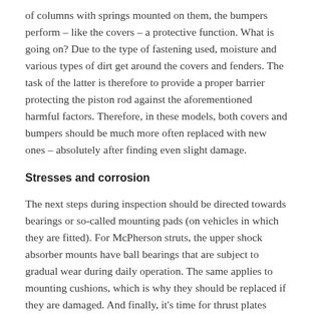of columns with springs mounted on them, the bumpers perform – like the covers – a protective function. What is going on? Due to the type of fastening used, moisture and various types of dirt get around the covers and fenders. The task of the latter is therefore to provide a proper barrier protecting the piston rod against the aforementioned harmful factors. Therefore, in these models, both covers and bumpers should be much more often replaced with new ones – absolutely after finding even slight damage.
Stresses and corrosion
The next steps during inspection should be directed towards bearings or so-called mounting pads (on vehicles in which they are fitted). For McPherson struts, the upper shock absorber mounts have ball bearings that are subject to gradual wear during daily operation. The same applies to mounting cushions, which is why they should be replaced if they are damaged. And finally, it's time for thrust plates